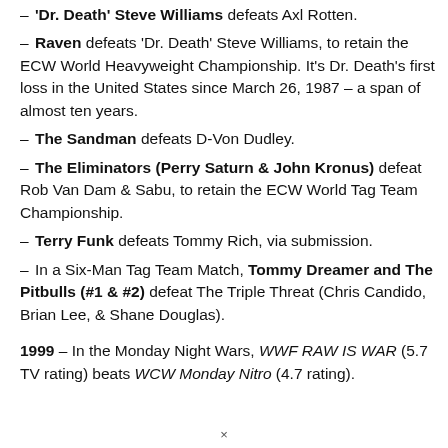– 'Dr. Death' Steve Williams defeats Axl Rotten.
– Raven defeats 'Dr. Death' Steve Williams, to retain the ECW World Heavyweight Championship. It's Dr. Death's first loss in the United States since March 26, 1987 – a span of almost ten years.
– The Sandman defeats D-Von Dudley.
– The Eliminators (Perry Saturn & John Kronus) defeat Rob Van Dam & Sabu, to retain the ECW World Tag Team Championship.
– Terry Funk defeats Tommy Rich, via submission.
– In a Six-Man Tag Team Match, Tommy Dreamer and The Pitbulls (#1 & #2) defeat The Triple Threat (Chris Candido, Brian Lee, & Shane Douglas).
1999 – In the Monday Night Wars, WWF RAW IS WAR (5.7 TV rating) beats WCW Monday Nitro (4.7 rating).